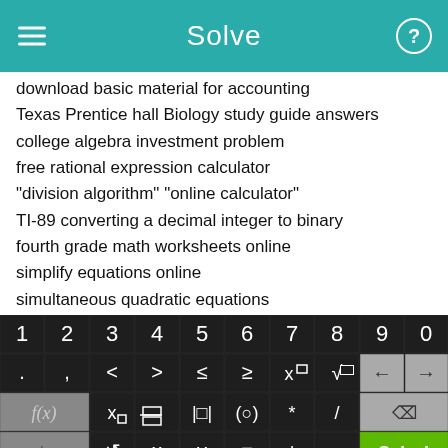Solve
download basic material for accounting
Texas Prentice hall Biology study guide answers
college algebra investment problem
free rational expression calculator
"division algorithm" "online calculator"
TI-89 converting a decimal integer to binary
fourth grade math worksheets online
simplify equations online
simultaneous quadratic equations
printable integer inequality worksheet
[Figure (screenshot): Mobile calculator keyboard with numeric keys (1-9, 0), operator keys (<, >, ≤, ≥, x^n, √, backspace, arrow), function keys (f(x), x subscript, fraction, absolute value, parentheses, multiply, divide, delete), and bottom row (abc, undo, x, y, =, +, -, Solve! button in green)]